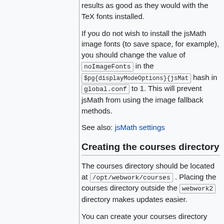results as good as they would with the TeX fonts installed.
If you do not wish to install the jsMath image fonts (to save space, for example), you should change the value of noImageFonts in the $pg{displayModeOptions}{jsMath hash in global.conf to 1. This will prevent jsMath from using the image fallback methods.
See also: jsMath settings
Creating the courses directory
The courses directory should be located at /opt/webwork/courses . Placing the courses directory outside the webwork2 directory makes updates easier.
You can create your courses directory